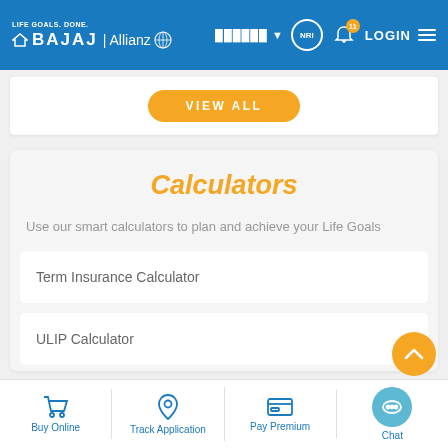LIFE GOALS. DONE. BAJAJ | Allianz — NRI LOGIN
[Figure (screenshot): VIEW ALL orange button on white card background]
Calculators
Use our smart calculators to plan and achieve your Life Goals
Term Insurance Calculator
ULIP Calculator
Buy Online | Track Application | Pay Premium | Chat